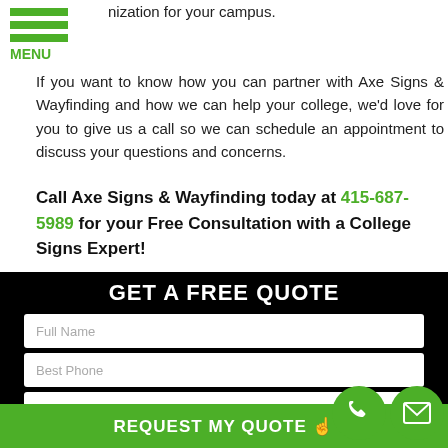MENU
nization for your campus. If you want to know how you can partner with Axe Signs & Wayfinding and how we can help your college, we'd love for you to give us a call so we can schedule an appointment to discuss your questions and concerns.
Call Axe Signs & Wayfinding today at 415-687-5989 for your Free Consultation with a College Signs Expert!
[Figure (other): GET A FREE QUOTE form with fields: Full Name, Best Phone, Email Address, What type and size of signage do you need?, and a REQUEST MY QUOTE button with phone and mail icons]